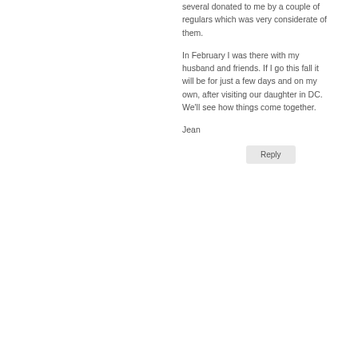several donated to me by a couple of regulars which was very considerate of them.
In February I was there with my husband and friends. If I go this fall it will be for just a few days and on my own, after visiting our daughter in DC. We'll see how things come together.
Jean
Reply